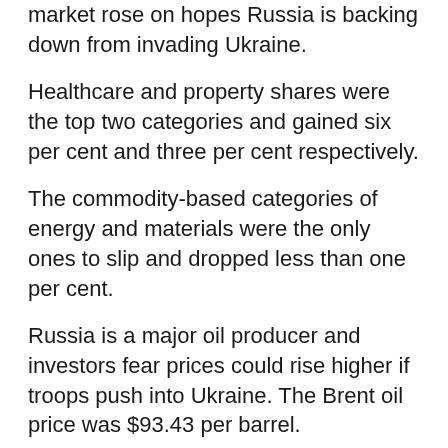market rose on hopes Russia is backing down from invading Ukraine.
Healthcare and property shares were the top two categories and gained six per cent and three per cent respectively.
The commodity-based categories of energy and materials were the only ones to slip and dropped less than one per cent.
Russia is a major oil producer and investors fear prices could rise higher if troops push into Ukraine. The Brent oil price was $93.43 per barrel.
The benchmark S&P/ASX200 index closed up 78 points, or 1.08 per cent, to 7284.9 points on Wednesday.
The All Ordinaries index closed higher by 82.7 points, or 1.1 per cent, to 7573 points.
Wall Street provided a good lead, largely due to progress in peace talks in Europe.